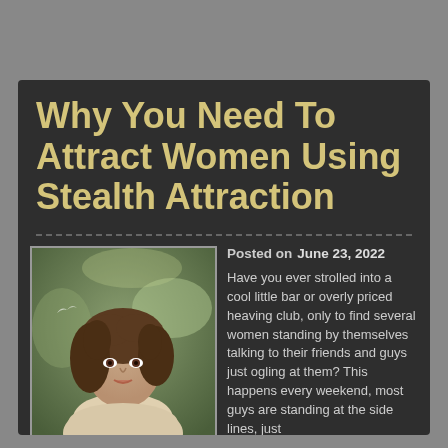Why You Need To Attract Women Using Stealth Attraction
Posted on  June 23, 2022
[Figure (photo): Portrait photo of a young woman with curly brown hair, wearing a light-colored top, with a blurred green outdoor background]
Have you ever strolled into a cool little bar or overly priced heaving club, only to find several women standing by themselves talking to their friends and guys just ogling at them? This happens every weekend, most guys are standing at the side lines, just looking (wanting) to talk to the best looking girls in …